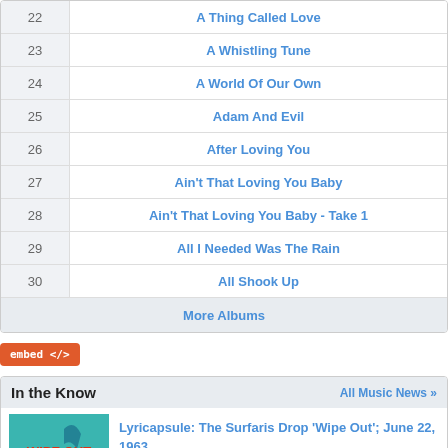| # | Title |
| --- | --- |
| 22 | A Thing Called Love |
| 23 | A Whistling Tune |
| 24 | A World Of Our Own |
| 25 | Adam And Evil |
| 26 | After Loving You |
| 27 | Ain't That Loving You Baby |
| 28 | Ain't That Loving You Baby - Take 1 |
| 29 | All I Needed Was The Rain |
| 30 | All Shook Up |
|  | More Albums |
embed </>
In the Know
All Music News »
[Figure (photo): Wipe Out by The Surfaris album cover]
Lyricapsule: The Surfaris Drop 'Wipe Out'; June 22, 1963